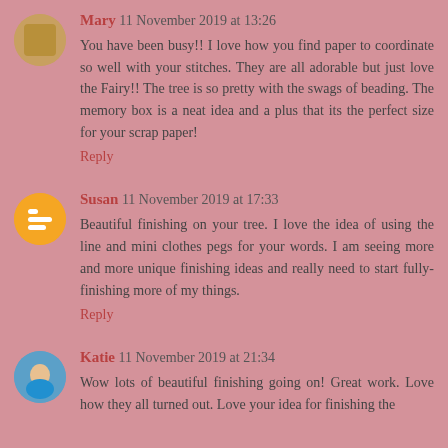Mary 11 November 2019 at 13:26
You have been busy!! I love how you find paper to coordinate so well with your stitches. They are all adorable but just love the Fairy!! The tree is so pretty with the swags of beading. The memory box is a neat idea and a plus that its the perfect size for your scrap paper!
Reply
Susan 11 November 2019 at 17:33
Beautiful finishing on your tree. I love the idea of using the line and mini clothes pegs for your words. I am seeing more and more unique finishing ideas and really need to start fully-finishing more of my things.
Reply
Katie 11 November 2019 at 21:34
Wow lots of beautiful finishing going on! Great work. Love how they all turned out. Love your idea for finishing the